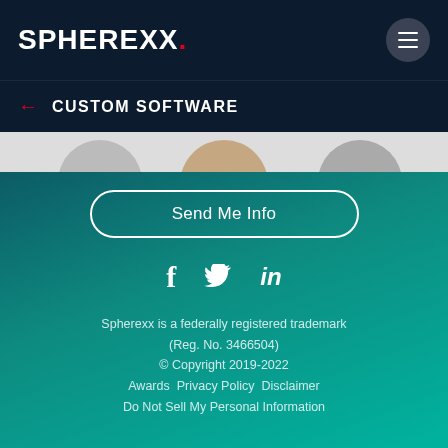SPHEREXX.
← CUSTOM SOFTWARE
[Figure (screenshot): Partial image strip showing people, cropped at top of teal section]
Send Me Info
[Figure (other): Social media icons: Facebook (f), Twitter (bird/t), LinkedIn (in)]
Spherexx is a federally registered trademark (Reg. No. 3466504) © Copyright 2019-2022 Awards Privacy Policy Disclaimer Do Not Sell My Personal Information